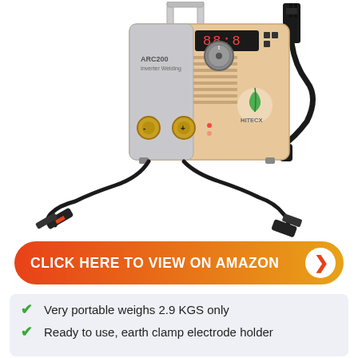[Figure (photo): Product photo of HITECX ARC200 inverter welding machine (gold/champagne color) with digital display, dial knob, ventilation slots, electrode holder cable, earth clamp cable, and power plug]
CLICK HERE TO VIEW ON AMAZON
Very portable weighs 2.9 KGS only
Ready to use, earth clamp electrode holder